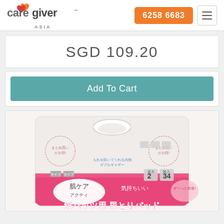[Figure (logo): Caregiver Asia logo with orange and red heart icon and ASIA text below]
6258 6683
SGD109.20
Add To Cart
[Figure (photo): Japanese adult diaper pad product package - Hachikea Akuty brand, pink and white packaging with Japanese text, showing model number 2 and 34 count]